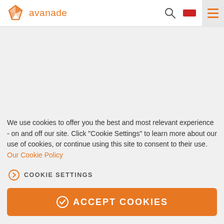avanade
We use cookies to offer you the best and most relevant experience - on and off our site. Click "Cookie Settings" to learn more about our use of cookies, or continue using this site to consent to their use. Our Cookie Policy
COOKIE SETTINGS
ACCEPT COOKIES